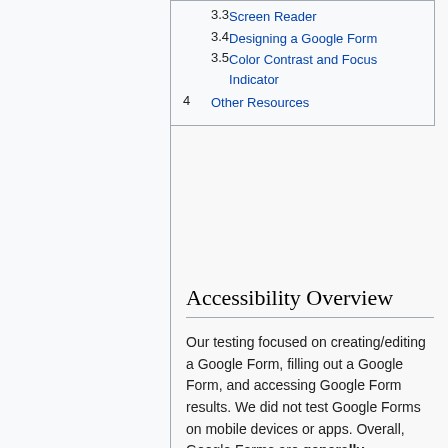3.3 Screen Reader
3.4 Designing a Google Form
3.5 Color Contrast and Focus Indicator
4 Other Resources
Accessibility Overview
Our testing focused on creating/editing a Google Form, filling out a Google Form, and accessing Google Form results. We did not test Google Forms on mobile devices or apps. Overall, Google Forms are generally accessible, with some problems; it is difficult to make images accessible, some templates and the default focus indicator have color contrast issues, and there is an increased cognitive load required for creating forms.